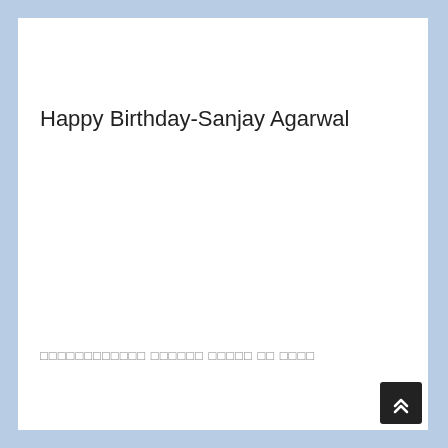Happy Birthday-Sanjay Agarwal
□□□□□□□□□□□□ □□□□□□ □□□□□ □□ □□□□